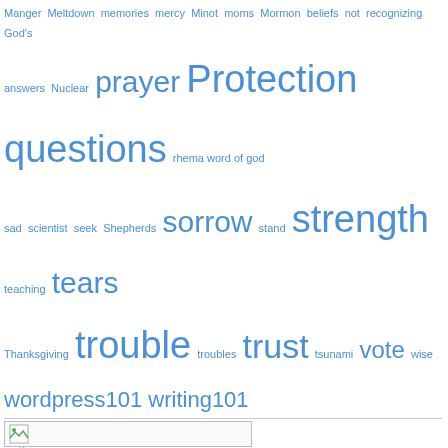Manger Meltdown memories mercy Minot moms Mormon beliefs not recognizing God's answers Nuclear prayer Protection questions rhema word of god sad scientist seek Shepherds sorrow stand strength teaching tears Thanksgiving trouble troubles trust tsunami vote wise wordpress101 writing101
Meta
Register
Log in
Entries feed
Comments feed
WordPress.com
[Figure (other): Placeholder image icon with broken image symbol]